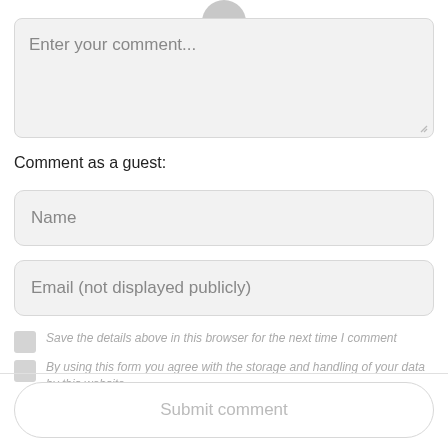[Figure (screenshot): Partial avatar circle at top center]
Enter your comment...
Comment as a guest:
Name
Email (not displayed publicly)
Save the details above in this browser for the next time I comment
By using this form you agree with the storage and handling of your data by this website
Submit comment